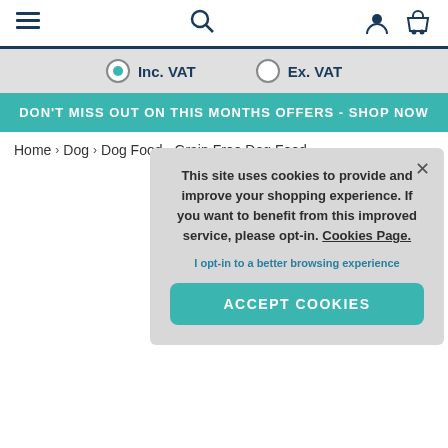Navigation bar with hamburger menu, search, user, and basket icons
Inc. VAT  Ex. VAT
DON'T MISS OUT ON THIS MONTHS OFFERS - SHOP NOW
Home > Dog > Dog Food > Grain Free Dog Food
This site uses cookies to provide and improve your shopping experience. If you want to benefit from this improved service, please opt-in. Cookies Page.
I opt-in to a better browsing experience
ACCEPT COOKIES